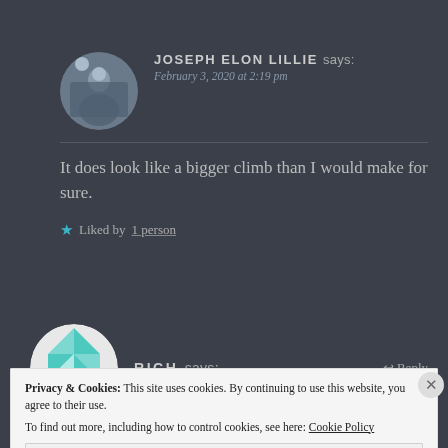JOSEPH ELON LILLIE says:
February 3, 2020 at 2:19 pm
It does look like a bigger climb than I would make for sure.
★ Liked by 1 person
[Figure (photo): Circular avatar photo of Joseph Elon Lillie showing a person standing near water with trees in background]
RICH says:
↩ Reply
[Figure (logo): Circular avatar with geometric teal and white triangle pattern for Rich]
Privacy & Cookies: This site uses cookies. By continuing to use this website, you agree to their use. To find out more, including how to control cookies, see here: Cookie Policy
Close and accept